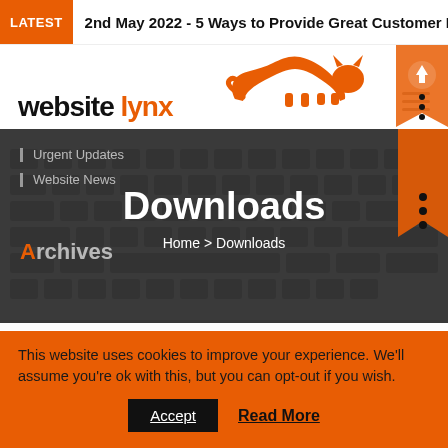LATEST  2nd May 2022 - 5 Ways to Provide Great Customer Exper
[Figure (logo): Website Lynx logo: black text 'website' and orange text 'lynx' with orange lynx/cat silhouette above]
[Figure (screenshot): Dark hero banner with keyboard background texture showing navigation items 'Urgent Updates', 'Website News', 'Archives' on left, and centered 'Downloads' title with 'Home > Downloads' breadcrumb]
Downloads
Home > Downloads
This website uses cookies to improve your experience. We'll assume you're ok with this, but you can opt-out if you wish.
Accept
Read More